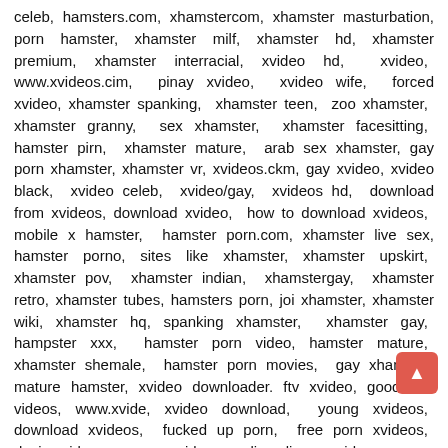celeb, hamsters.com, xhamstercom, xhamster masturbation, porn hamster, xhamster milf, xhamster hd, xhamster premium, xhamster interracial, xvideo hd, xvideo, www.xvideos.cim, pinay xvideo, xvideo wife, forced xvideo, xhamster spanking, xhamster teen, zoo xhamster, xhamster granny, sex xhamster, xhamster facesitting, hamster pirn, xhamster mature, arab sex xhamster, gay porn xhamster, xhamster vr, xvideos.ckm, gay xvideo, xvideo black, xvideo celeb, xvideo/gay, xvideos hd, download from xvideos, download xvideo, how to download xvideos, mobile x hamster, hamster porn.com, xhamster live sex, hamster porno, sites like xhamster, xhamster upskirt, xhamster pov, xhamster indian, xhamstergay, xhamster retro, xhamster tubes, hamsters porn, joi xhamster, xhamster wiki, xhamster hq, spanking xhamster, xhamster gay, hampster xxx, hamster porn video, hamster mature, xhamster shemale, hamster porn movies, gay xhamster, mature hamster, xvideo downloader. ftv xvideo, good sex videos, www.xvide, xvideo download, young xvideos, download xvideos, fucked up porn, free porn xvideos, desi xvideo, porn xvideos, lisa lipps xvideo, save xvideos, x video hd, men xvideos, brother sister xvideo, xhamster turkish, hamster.com porn, hamster sex, xhamster mom, xhampster gay, m.xhamster, xhamster bbw, xhamster hairy pussy, hampster.com, wwwxhamster.com, xhamster vintage, deep gay xhamster, www.xvideoscom, wwwxvideos, xvideo.con, xvideo i, free x videos, https xvideos, free x video, xvideos.cpm, h xvideo app, ebony xvideo, xxxvideos, xvideo porno, tumblr xvide porn, free xvideos, xvideo red, sex scene xvideo, xhamstercams, xhamstermobile, xhamsterfreeporn, hamster xx, xhamster pics, xhamsto4